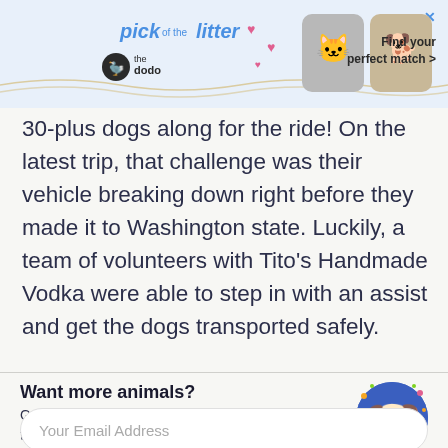[Figure (screenshot): Advertisement banner for 'The Dodo' app featuring 'pick of the litter' promotion with cat and dog photos and 'Find your perfect match >' call to action]
30-plus dogs along for the ride! On the latest trip, that challenge was their vehicle breaking down right before they made it to Washington state. Luckily, a team of volunteers with Tito's Handmade Vodka were able to step in with an assist and get the dogs transported safely.
Want more animals?
Get a daily dose of uplifting animal stories straight to your inbox
Your Email Address
Subscribe